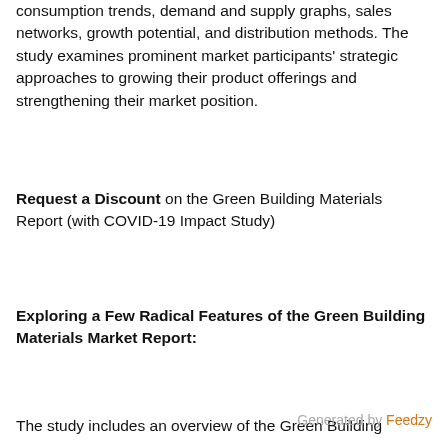consumption trends, demand and supply graphs, sales networks, growth potential, and distribution methods. The study examines prominent market participants' strategic approaches to growing their product offerings and strengthening their market position.
Request a Discount on the Green Building Materials Report (with COVID-19 Impact Study)
Exploring a Few Radical Features of the Green Building Materials Market Report:
The study includes an overview of the Green Building
Generated by Feedzy